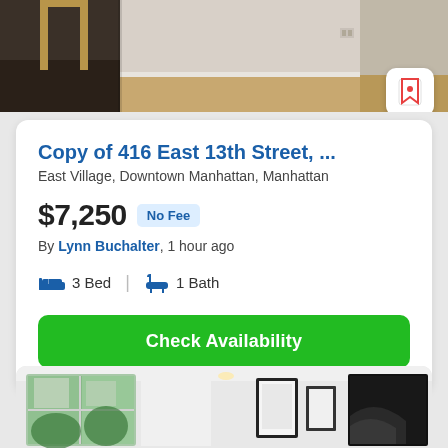[Figure (photo): Interior apartment photo showing entryway with dark tile floor, wooden door, and hardwood floored hallway with gray walls]
Copy of 416 East 13th Street, ...
East Village, Downtown Manhattan, Manhattan
$7,250  No Fee
By Lynn Buchalter, 1 hour ago
3 Bed  |  1 Bath
Check Availability
[Figure (photo): Bright modern apartment interior showing white walls, large windows with view of building and greenery, and framed artwork on walls]